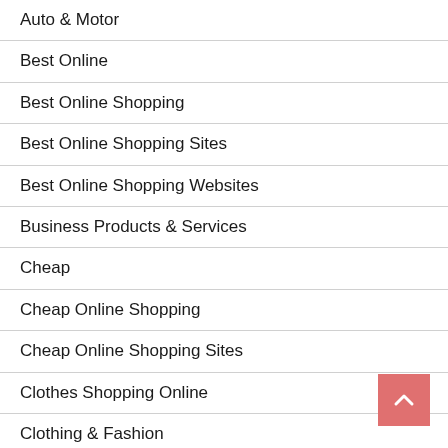Auto & Motor
Best Online
Best Online Shopping
Best Online Shopping Sites
Best Online Shopping Websites
Business Products & Services
Cheap
Cheap Online Shopping
Cheap Online Shopping Sites
Clothes Shopping Online
Clothing & Fashion
Discount Online Shopping
Discount Shopping
Dresses Online Shopping